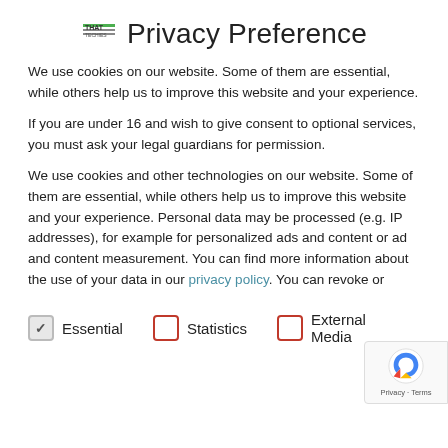Privacy Preference
We use cookies on our website. Some of them are essential, while others help us to improve this website and your experience.
If you are under 16 and wish to give consent to optional services, you must ask your legal guardians for permission.
We use cookies and other technologies on our website. Some of them are essential, while others help us to improve this website and your experience. Personal data may be processed (e.g. IP addresses), for example for personalized ads and content or ad and content measurement. You can find more information about the use of your data in our privacy policy. You can revoke or
Essential
Statistics
External Media
Changes and new features
In May 2020, a major update of thaTEC:OS was